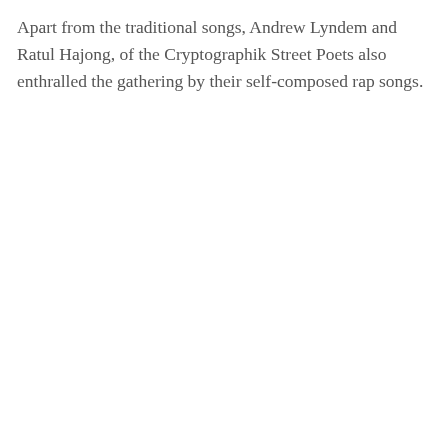Apart from the traditional songs, Andrew Lyndem and Ratul Hajong, of the Cryptographik Street Poets also enthralled the gathering by their self-composed rap songs.